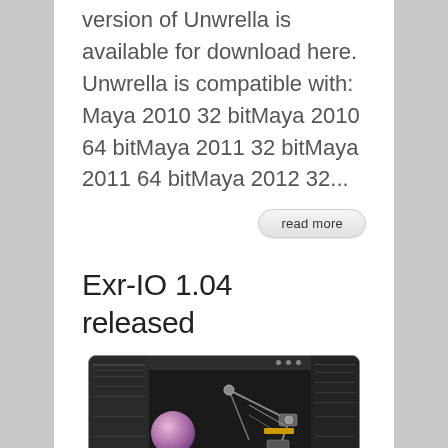version of Unwrella is available for download here. Unwrella is compatible with: Maya 2010 32 bitMaya 2010 64 bitMaya 2011 32 bitMaya 2011 64 bitMaya 2012 32...
read more
Exr-IO 1.04 released
[Figure (screenshot): Screenshot of Exr-IO software interface showing a 3D rendering application with a mechanical object and a purple sphere on dark background, with Exr-IO label at bottom left]